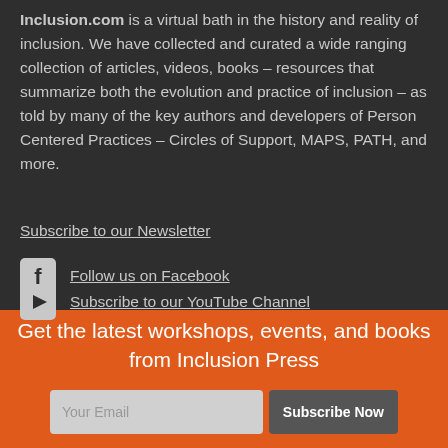Inclusion.com is a virtual bath in the history and reality of inclusion. We have collected and curated a wide ranging collection of articles, videos, books – resources that summarize both the evolution and practice of inclusion – as told by many of the key authors and developers of Person Centered Practices – Circles of Support, MAPS, PATH, and more.
Subscribe to our Newsletter
Follow us on Facebook
Subscribe to our YouTube Channel
Get the latest workshops, events, and books from Inclusion Press
Your Email
Subscribe Now